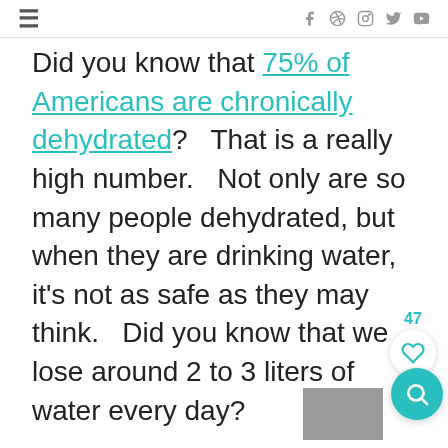≡   f p instagram twitter youtube
Did you know that 75% of Americans are chronically dehydrated?   That is a really high number.   Not only are so many people dehydrated, but when they are drinking water, it's not as safe as they may think.   Did you know that we lose around 2 to 3 liters of water every day?

Water is so important to help your body function as it should. When we are dehydrated, we don't think clearly, as it